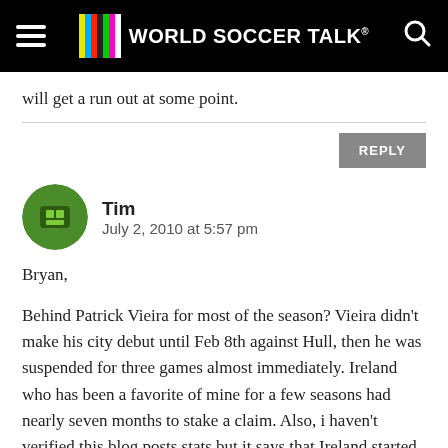World Soccer Talk
will get a run out at some point.
REPLY
Tim
July 2, 2010 at 5:57 pm
Bryan,

Behind Patrick Vieira for most of the season? Vieira didn't make his city debut until Feb 8th against Hull, then he was suspended for three games almost immediately. Ireland who has been a favorite of mine for a few seasons had nearly seven months to stake a claim. Also, i haven't verified this blog posts stats but it says that Ireland started 23 matches for City this past season to Vieira's 9(see link below). Man City isn't flexing their financial muscle just because they can instead trying to add fortification to the what the new me believes are its biggest weaknesses. Remember he